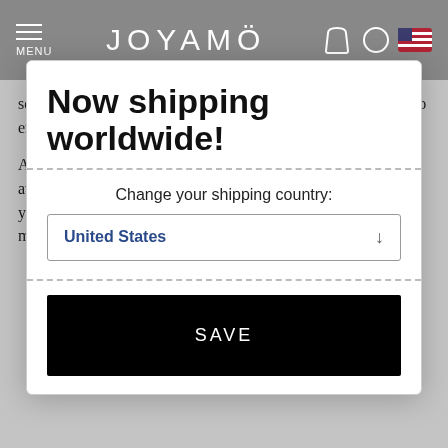MENU | JOYAMO
set comes with mesmerizing Swarovski stones and you can also engrave both your names on the infinity pendant.
All JoyAmo's matching jewelry for boyfriend and girlfriend is available in 925 Sterling silver, 18k rose gold plating and 18k yellow gold plating. So you just have to check on her favorite metal!
[Figure (screenshot): Popup modal overlay on the JoyAmo website with the title 'Now shipping worldwide!', a shipping country selector showing 'United States', and a black SAVE button.]
Now shipping worldwide!
Change your shipping country:
United States
SAVE